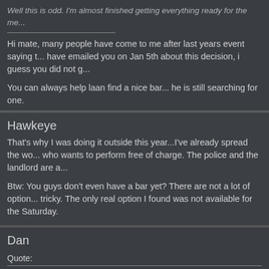Well this is odd. I'm almost finished getting everything ready for the me...
Hi mate, many people have come to me after last years event saying t... have emailed you on Jan 5th about this decision, i guess you did not g...
You can always help laan find a nice bar... he is still searching for one.
Hawkeye
That's why I was doing it outside this year...I've already spread the wo... who wants to perform free of charge. The police and the landlord are a...
Btw: You guys don't even have a bar yet? There are not a lot of option... tricky. The only real option I found was not available for the Saturday.
Dan
Quote:
Originally Posted by Hawkeye
That's why I was doing it outside this year...I've already spread the wo... who wants to perform free of charge. The police and the landlord are a...